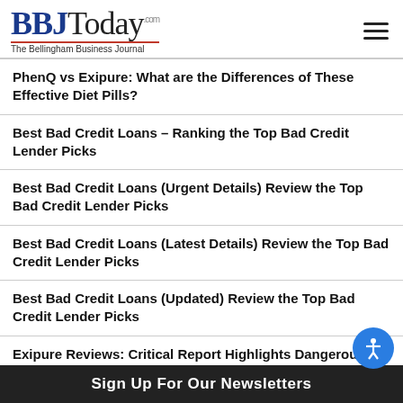BBJToday.com — The Bellingham Business Journal
PhenQ vs Exipure: What are the Differences of These Effective Diet Pills?
Best Bad Credit Loans – Ranking the Top Bad Credit Lender Picks
Best Bad Credit Loans (Urgent Details) Review the Top Bad Credit Lender Picks
Best Bad Credit Loans (Latest Details) Review the Top Bad Credit Lender Picks
Best Bad Credit Loans (Updated) Review the Top Bad Credit Lender Picks
Exipure Reviews: Critical Report Highlights Dangerous Side Effects Risk!
Sign Up For Our Newsletters